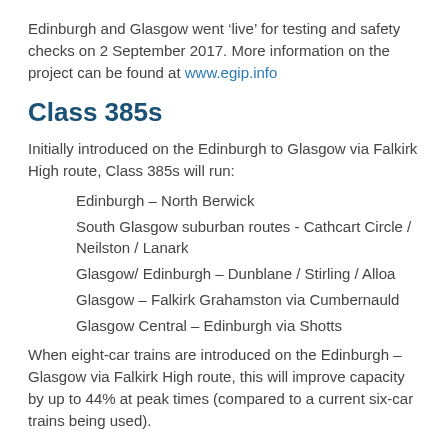Edinburgh and Glasgow went 'live' for testing and safety checks on 2 September 2017. More information on the project can be found at www.egip.info
Class 385s
Initially introduced on the Edinburgh to Glasgow via Falkirk High route, Class 385s will run:
Edinburgh – North Berwick
South Glasgow suburban routes - Cathcart Circle / Neilston / Lanark
Glasgow/ Edinburgh – Dunblane / Stirling / Alloa
Glasgow – Falkirk Grahamston via Cumbernauld
Glasgow Central – Edinburgh via Shotts
When eight-car trains are introduced on the Edinburgh – Glasgow via Falkirk High route, this will improve capacity by up to 44% at peak times (compared to a current six-car trains being used).